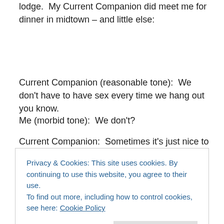lodge.  My Current Companion did meet me for dinner in midtown – and little else:
Current Companion (reasonable tone):  We don't have to have sex every time we hang out you know.
Me (morbid tone):  We don't?
Current Companion:  Sometimes it's just nice to talk.
Privacy & Cookies: This site uses cookies. By continuing to use this website, you agree to their use.
To find out more, including how to control cookies, see here: Cookie Policy